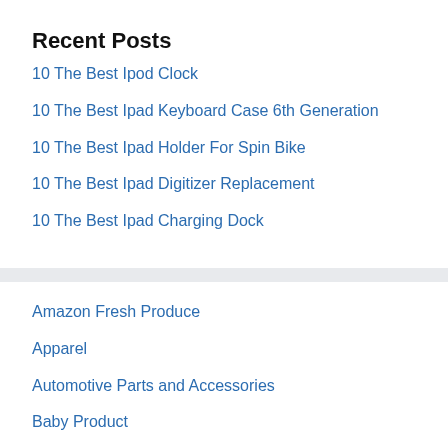Recent Posts
10 The Best Ipod Clock
10 The Best Ipad Keyboard Case 6th Generation
10 The Best Ipad Holder For Spin Bike
10 The Best Ipad Digitizer Replacement
10 The Best Ipad Charging Dock
Amazon Fresh Produce
Apparel
Automotive Parts and Accessories
Baby Product